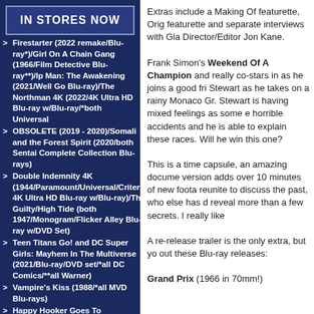IN STORES NOW
Firestarter (2022 remake/Blu-ray*)/Girl On A Chain Gang (1966/Film Detective Blu-ray**)/Ip Man: The Awakening (2021/Well Go Blu-ray)/The Northman 4K (2022/4K Ultra HD Blu-ray w/Blu-ray/*both Universal
OBSOLETE (2019 - 2020)/Somali and the Forest Spirit (2020/both Sentai Complete Collection Blu-rays)
Double Indemnity 4K (1944/Paramount/Universal/Criterion 4K Ultra HD Blu-ray w/Blu-ray)/The Guilty/High Tide (both 1947/Monogram/Flicker Alley Blu-ray w/DVD Set)
Teen Titans Go! and DC Super Girls: Mayhem In The Multiverse (2021/Blu-ray/DVD set/*all DC Comics/**all Warner)
Vampire's Kiss (1988/*all MVD Blu-rays)
Happy Hooker Goes To Hollywood (1980/Cannon/Scorpion/Blu-ray*)/Sex and Zen (2010/Umbrella Region Free Import Blu-ray)/Tokyo Decadence (1991/Unearthed Blu-ray*)/Wild Things 4K (1998/Sony/Arrow 4K Ultra
Cecilia (1982/Blue Underground Blu-ray)/The Debut (1977/Cult Epics Blu-ray)/Mothering Sunday (2021/Raven Blanc)/Penny Fields...
Extras include a Making Of featurette, Orig featurette and separate interviews with Gla Director/Editor Jon Kane.
Frank Simon's Weekend Of A Champion and really co-stars in as he joins a good fri Stewart as he takes on a rainy Monaco Gr. Stewart is having mixed feelings as some e horrible accidents and he is able to explain these races. Will he win this one?
This is a time capsule, an amazing docume version adds over 10 minutes of new foota reunite to discuss the past, who else has d reveal more than a few secrets. I really like
A re-release trailer is the only extra, but yo out these Blu-ray releases:
Grand Prix (1966 in 70mm!)